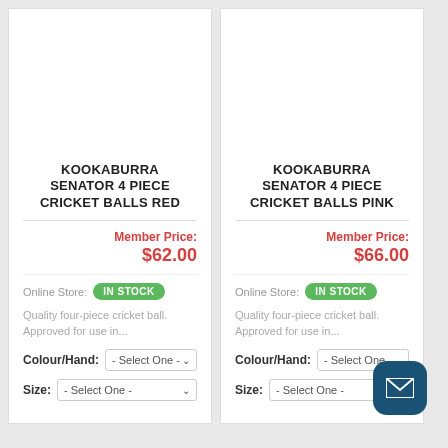KOOKABURRA SENATOR 4 PIECE CRICKET BALLS RED
Member Price: $62.00
Online Store: IN STOCK
Quality four-piece cricket ball. Approved for use in...
Colour/Hand: - Select One -
Size: - Select One -
KOOKABURRA SENATOR 4 PIECE CRICKET BALLS PINK
Member Price: $66.00
Online Store: IN STOCK
Quality four-piece cricket ball. Approved for use in...
Colour/Hand: - Select One -
Size: - Select One -